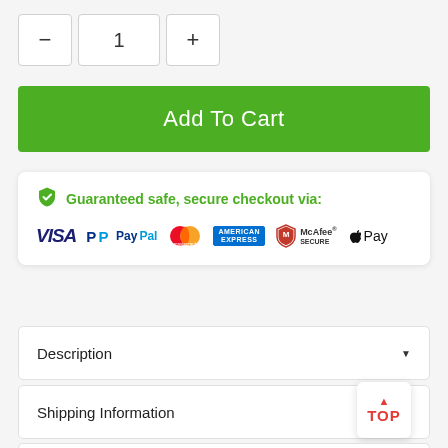[Figure (infographic): Quantity selector with minus button, number 1, and plus button]
[Figure (infographic): Green Add To Cart button]
[Figure (infographic): Guaranteed safe secure checkout box with payment logos: VISA, PayPal, Mastercard, American Express, McAfee Secure, Apple Pay]
Description
Shipping Information
Satisfaction Guarantee
Reviews